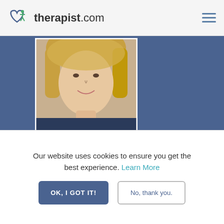therapist.com
[Figure (photo): Profile photo of Lisa Redding, a blond woman, partially visible from shoulders up against a blue background]
Lisa Redding, MA LPC BSL
Verified  Certified
She/Her/Hers
Licensed Professional Counselor
In Person, Online, and Phone Sessions
Our website uses cookies to ensure you get the best experience. Learn More
OK, I GOT IT!    No, thank you.